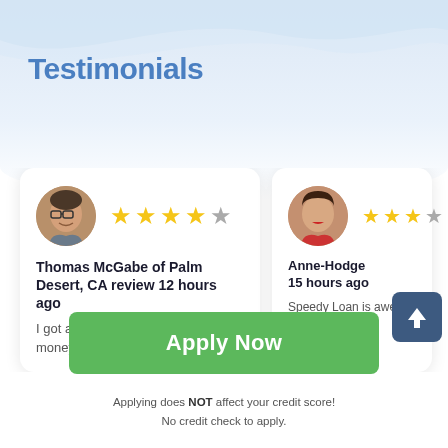Testimonials
[Figure (illustration): Testimonial card for Thomas McGabe of Palm Desert, CA - 4.5 star rating with reviewer photo]
Thomas McGabe of Palm Desert, CA review 12 hours ago
I got approved right away and the money was deposit into my
[Figure (illustration): Partial testimonial card for Anne-Hodge review 15 hours ago - 3.5 stars - Speedy Loan is awe...]
Apply Now
Applying does NOT affect your credit score!
No credit check to apply.